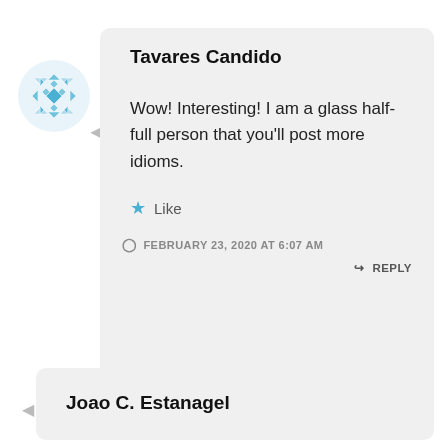[Figure (illustration): Blue geometric/quilt pattern avatar icon for Tavares Candido]
Tavares Candido
Wow! Interesting! I am a glass half-full person that you'll post more idioms.
Like
FEBRUARY 23, 2020 AT 6:07 AM
REPLY
Joao C. Estanagel